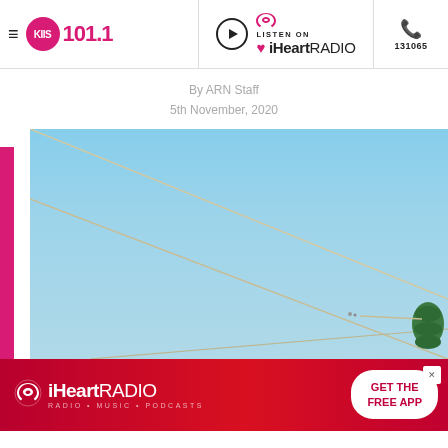KIIS 101.1 | LISTEN ON iHeartRADIO | 131065
By ARN Staff
5th November, 2020
[Figure (photo): Photograph looking up at power lines and utility poles against a clear blue sky, with a green electrical insulator visible in the bottom-right corner. A vertical pink/magenta bar is on the left side.]
[Figure (advertisement): iHeartRADIO advertisement banner in red/magenta gradient with iHeart logo and 'GET THE FREE APP' button, with an X close button.]